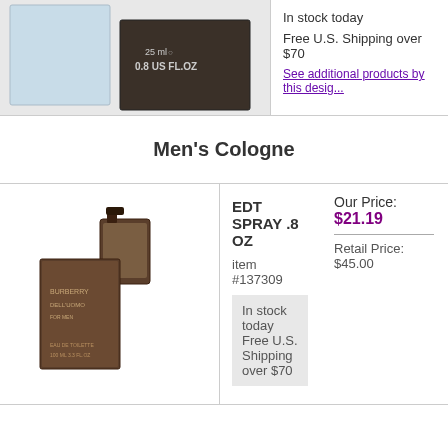[Figure (photo): Product image of a perfume/cologne bottle and box with text '25 ml 0.8 US FL.OZ']
In stock today
Free U.S. Shipping over $70
See additional products by this designer
Men's Cologne
[Figure (photo): Product image of a Burberry cologne bottle and box (dark brown)]
EDT SPRAY .8 OZ
item #137309
In stock today
Free U.S. Shipping over $70
Our Price:
$21.19
Retail Price:
$45.00